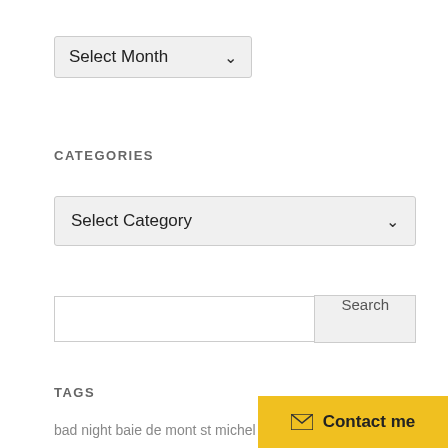[Figure (screenshot): Dropdown selector showing 'Select Month' with a down arrow, light gray background with border]
CATEGORIES
[Figure (screenshot): Dropdown selector showing 'Select Category' with a down arrow, light gray background with border]
[Figure (screenshot): Search bar with text input field and a 'Search' button]
TAGS
bad night baie de mont st michel beach belgium blog
[Figure (screenshot): Yellow contact button with envelope icon and text 'Contact me']